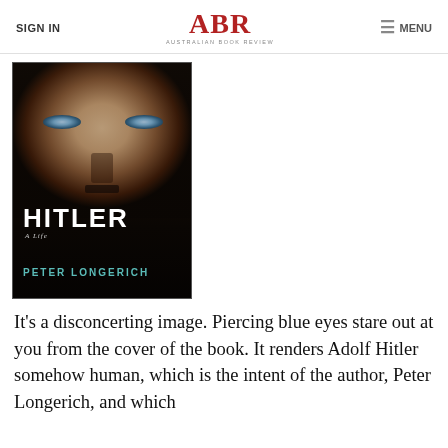SIGN IN | ABR Australian Book Review | MENU
[Figure (photo): Book cover of 'Hitler: A Life' by Peter Longerich. Shows a close-up of Hitler's face with piercing blue eyes against a dark background. Title 'HITLER' and subtitle 'A Life' appear in white, author name 'PETER LONGERICH' in teal below.]
It's a disconcerting image. Piercing blue eyes stare out at you from the cover of the book. It renders Adolf Hitler somehow human, which is the intent of the author, Peter Longerich, and which